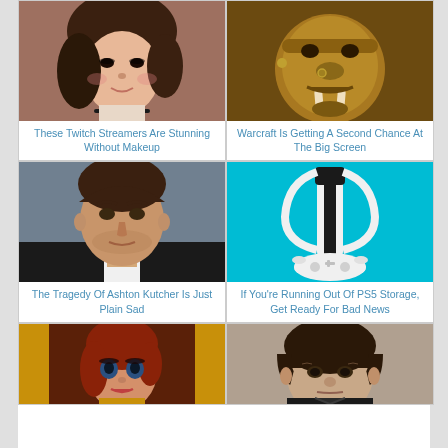[Figure (photo): Photo of a young woman, a Twitch streamer, without makeup]
[Figure (photo): Photo of a Warcraft movie orc character]
These Twitch Streamers Are Stunning Without Makeup
Warcraft Is Getting A Second Chance At The Big Screen
[Figure (photo): Photo of Ashton Kutcher]
[Figure (photo): Photo of a PS5 console and controller on teal background]
The Tragedy Of Ashton Kutcher Is Just Plain Sad
If You're Running Out Of PS5 Storage, Get Ready For Bad News
[Figure (illustration): Illustrated female character from a video game (BioShock style)]
[Figure (photo): Photo of a man with bowl cut hair, dark jacket]